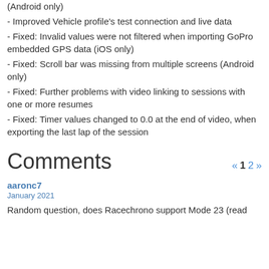(Android only)
- Improved Vehicle profile's test connection and live data
- Fixed: Invalid values were not filtered when importing GoPro embedded GPS data (iOS only)
- Fixed: Scroll bar was missing from multiple screens (Android only)
- Fixed: Further problems with video linking to sessions with one or more resumes
- Fixed: Timer values changed to 0.0 at the end of video, when exporting the last lap of the session
Comments
aaronc7
January 2021
Random question, does Racechrono support Mode 23 (read